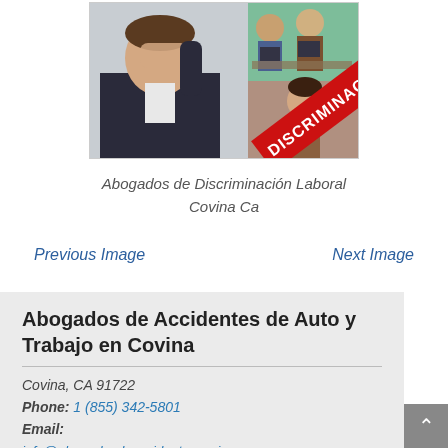[Figure (photo): Photo collage showing a stressed businessman holding his head, office workers in background, with a red diagonal banner reading DISCRIMINACIÓN]
Abogados de Discriminación Laboral Covina Ca
Previous Image
Next Image
Abogados de Accidentes de Auto y Trabajo en Covina
Covina, CA 91722
Phone: 1 (855) 342-5801
Email:
info@abogadosdeaccidentescovina.com